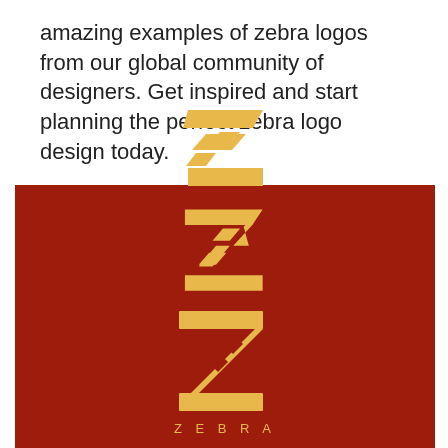amazing examples of zebra logos from our global community of designers. Get inspired and start planning the perfect zebra logo design today.
[Figure (logo): Red/dark red background with a stylized golden-yellow 'Z' letter logo made of two horizontal bars connected by a diagonal slash, with the word 'ZEBRA' in spaced capital letters below it.]